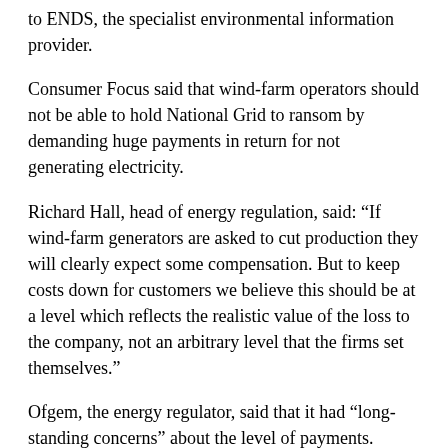to ENDS, the specialist environmental information provider.
Consumer Focus said that wind-farm operators should not be able to hold National Grid to ransom by demanding huge payments in return for not generating electricity.
Richard Hall, head of energy regulation, said: “If wind-farm generators are asked to cut production they will clearly expect some compensation. But to keep costs down for customers we believe this should be at a level which reflects the realistic value of the loss to the company, not an arbitrary level that the firms set themselves.”
Ofgem, the energy regulator, said that it had “long-standing concerns” about the level of payments.
Since 2007, the amount of these “constraint payments” to all power generators has doubled as the amount of